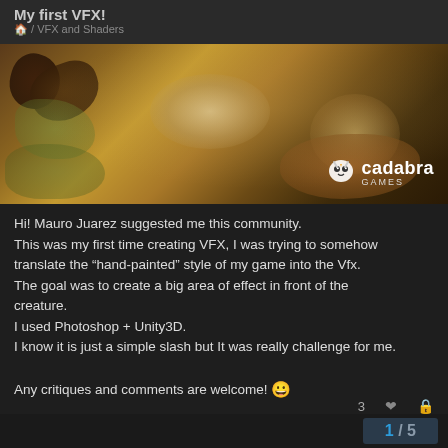My first VFX!
🏠 / VFX and Shaders
[Figure (photo): VFX game art screenshot showing hand-painted style effect with glowing blobs and organic shapes in warm brown/gold tones, with Cadabra Games logo watermark in bottom right]
Hi! Mauro Juarez suggested me this community.
This was my first time creating VFX, I was trying to somehow translate the “hand-painted” style of my game into the Vfx.
The goal was to create a big area of effect in front of the creature.
I used Photoshop + Unity3D.
I know it is just a simple slash but It was really challenge for me.

Any critiques and comments are welcome! 😀
1 / 5